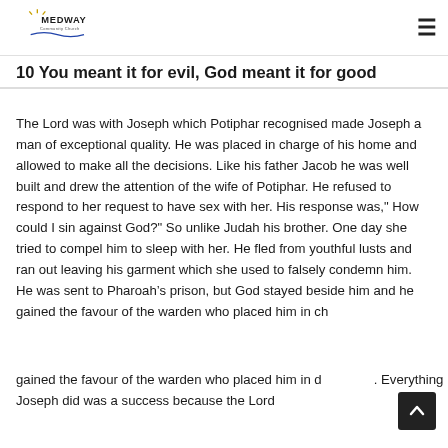Medway Community Church
10 You meant it for evil, God meant it for good
The Lord was with Joseph which Potiphar recognised made Joseph a man of exceptional quality. He was placed in charge of his home and allowed to make all the decisions. Like his father Jacob he was well built and drew the attention of the wife of Potiphar. He refused to respond to her request to have sex with her. His response was," How could I sin against God?" So unlike Judah his brother. One day she tried to compel him to sleep with her. He fled from youthful lusts and ran out leaving his garment which she used to falsely condemn him.  He was sent to Pharoah’s prison, but God stayed beside him and he gained the favour of the warden who placed him in charge. Everything Joseph did was a success because the Lord was with him.